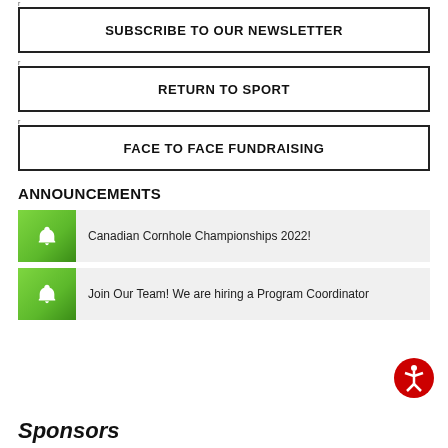SUBSCRIBE TO OUR NEWSLETTER
RETURN TO SPORT
FACE TO FACE FUNDRAISING
ANNOUNCEMENTS
Canadian Cornhole Championships 2022!
Join Our Team! We are hiring a Program Coordinator
Sponsors